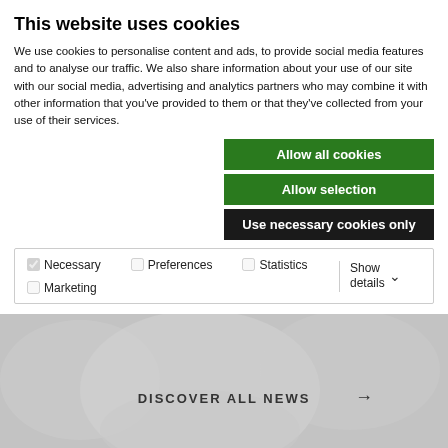This website uses cookies
We use cookies to personalise content and ads, to provide social media features and to analyse our traffic. We also share information about your use of our site with our social media, advertising and analytics partners who may combine it with other information that you've provided to them or that they've collected from your use of their services.
Allow all cookies
Allow selection
Use necessary cookies only
| Necessary | Preferences | Statistics | Marketing | Show details |
| --- | --- | --- | --- | --- |
| ✓ Necessary | □ Preferences | □ Statistics | □ Marketing | Show details ⌄ |
[Figure (photo): Blurred/faded background photo of people, with a 'DISCOVER ALL NEWS →' call-to-action overlay]